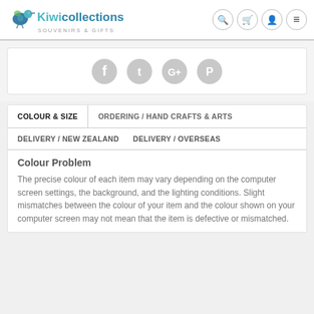Kiwi Collections — SOUVENIRS & GIFTS
[Figure (logo): Kiwi Collections logo with kiwi bird illustration and text 'Kiwi collections SOUVENIRS & GIFTS']
[Figure (infographic): Social media share icons: Facebook, Twitter, Google+, Pinterest (all grey circles)]
COLOUR & SIZE | ORDERING / HAND CRAFTS & ARTS
DELIVERY / NEW ZEALAND | DELIVERY / OVERSEAS
Colour Problem
The precise colour of each item may vary depending on the computer screen settings, the background, and the lighting conditions. Slight mismatches between the colour of your item and the colour shown on your computer screen may not mean that the item is defective or mismatched.